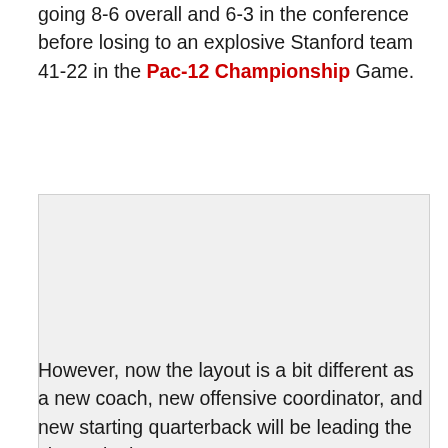going 8-6 overall and 6-3 in the conference before losing to an explosive Stanford team 41-22 in the Pac-12 Championship Game.
[Figure (photo): A photo placeholder (light gray box) embedded in the article body.]
However, now the layout is a bit different as a new coach, new offensive coordinator, and new starting quarterback will be leading the charge in the 2016